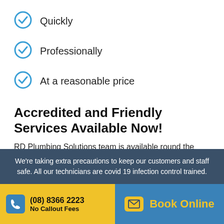Quickly
Professionally
At a reasonable price
Accredited and Friendly Services Available Now!
RD Plumbing Solutions team is available round the clock to help with any type of Glenelg Emergency Plumbing.
Block drains
We're taking extra precautions to keep our customers and staff safe. All our technicians are covid 19 infection control trained.
(08) 8366 2223
No Callout Fees
Book Online